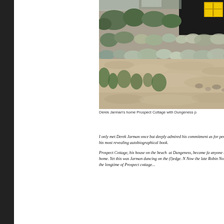[Figure (photo): Photograph of Derek Jarman's home Prospect Cottage with Dungeness pebble garden in the foreground, showing shrubs and plants growing among gravel/shingle, with a black timber building and yellow window frames visible in the background.]
Derek Jarman's home Prospect Cottage with Dungeness p
I only met Derek Jarman once but deeply admired his commitment as for perhaps his most revealing autobiographical book.
Prospect Cottage, his house on the beach at Dungeness, became fa anyone to set up home. Yet this was Jarman dancing on the (l)edge. Now the late Robin Noscoe, the longtime of Prospect cottage...